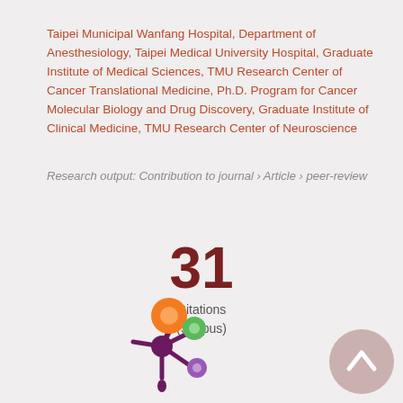Taipei Municipal Wanfang Hospital, Department of Anesthesiology, Taipei Medical University Hospital, Graduate Institute of Medical Sciences, TMU Research Center of Cancer Translational Medicine, Ph.D. Program for Cancer Molecular Biology and Drug Discovery, Graduate Institute of Clinical Medicine, TMU Research Center of Neuroscience
Research output: Contribution to journal › Article › peer-review
31 Citations (Scopus)
[Figure (logo): Altmetric donut-style logo with orange, green, purple colored circles arranged in a splat/flower pattern]
[Figure (other): Scroll-to-top button: a mauve/pink circle with an upward chevron arrow]